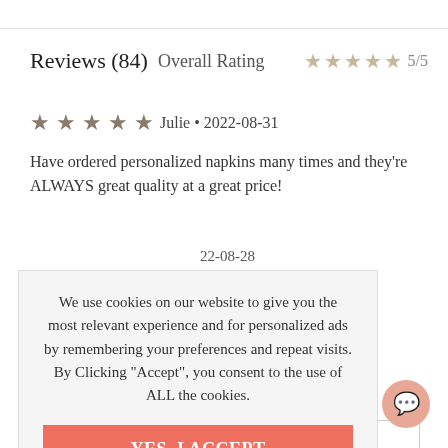Reviews (84) Overall Rating ★★★★★ 5/5
★★★★★ Julie • 2022-08-31
Have ordered personalized napkins many times and they're ALWAYS great quality at a great price!
22-08-28
We use cookies on our website to give you the most relevant experience and for personalized ads by remembering your preferences and repeat visits. By Clicking "Accept", you consent to the use of ALL the cookies.
YES, I ACCEPT
More Info
the pictures
views ▼